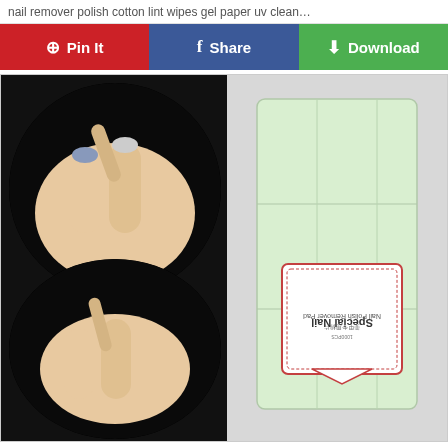nail remover polish cotton lint wipes gel paper uv clean…
[Figure (screenshot): Social sharing buttons row: Pinterest Pin It (red), Facebook Share (blue), Download (green)]
[Figure (photo): Product photo collage showing nail cotton wipes. Left side on black background: two circular cropped photos of hands using cotton wipes on nails. Right side: package of light green nail wipes with 'Special Nail' label sticker.]